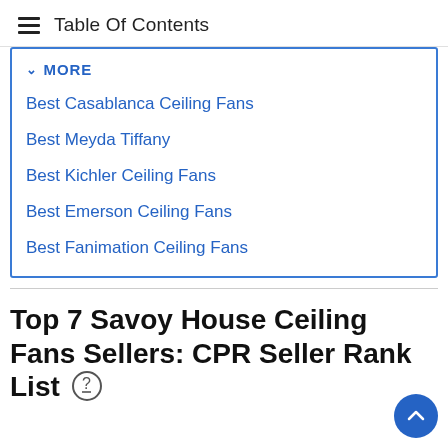Table Of Contents
MORE
Best Casablanca Ceiling Fans
Best Meyda Tiffany
Best Kichler Ceiling Fans
Best Emerson Ceiling Fans
Best Fanimation Ceiling Fans
Top 7 Savoy House Ceiling Fans Sellers: CPR Seller Rank List